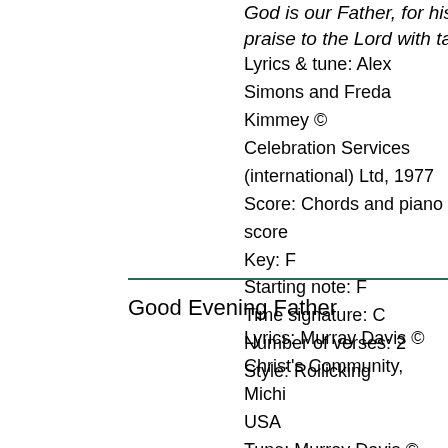God is our Father, for his has made us his own / 3 praise to the Lord with tambourine
Lyrics & tune: Alex Simons and Freda Kimmey © Celebration Services (international) Ltd, 1977
Score: Chords and piano score
Key: F
Starting note: F
Time signature: C
Number of verses: 2
Style: Rollicking
Good Evening Father
Lyrics: Murray Davis © Christ's Community, Michigan USA
Tune: Murray Davis © Christ's Community, Michigan USA
Setting: Betty Pulkingham
Score: Chords and piano score
Key: E
Starting note: B